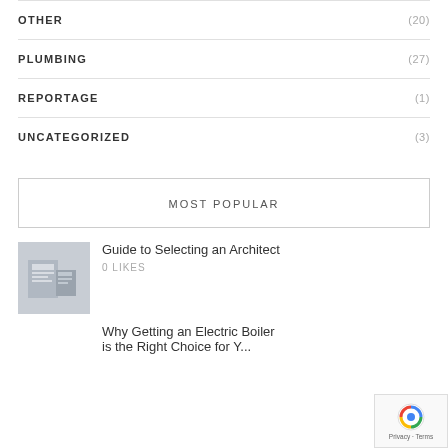OTHER (20)
PLUMBING (27)
REPORTAGE (1)
UNCATEGORIZED (3)
MOST POPULAR
Guide to Selecting an Architect
0 LIKES
Why Getting an Electric Boiler is the Right Choice for Y...